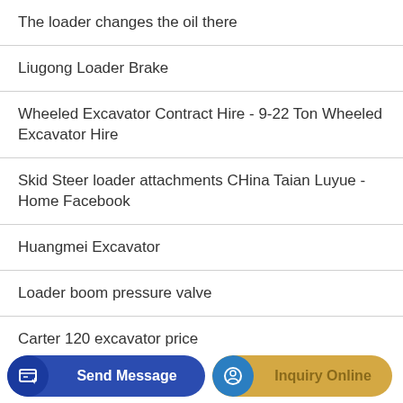The loader changes the oil there
Liugong Loader Brake
Wheeled Excavator Contract Hire - 9-22 Ton Wheeled Excavator Hire
Skid Steer loader attachments CHina Taian Luyue - Home Facebook
Huangmei Excavator
Loader boom pressure valve
Carter 120 excavator price